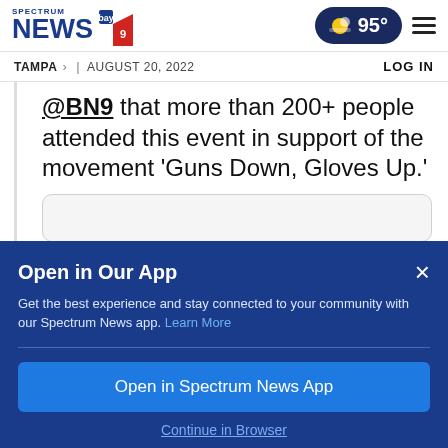[Figure (logo): Spectrum News Bay News 9 logo with blue NEWS text and channel 9 badge]
TAMPA > | AUGUST 20, 2022    LOG IN
@BN9 that more than 200+ people attended this event in support of the movement 'Guns Down, Gloves Up.'
Open in Our App
Get the best experience and stay connected to your community with our Spectrum News app. Learn More
Open in Spectrum News App
Continue in Browser